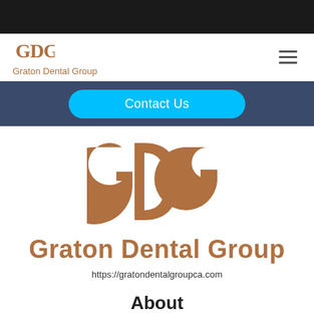[Figure (logo): Graton Dental Group logo - GDG monogram in brown with text below]
Contact Us
[Figure (logo): Large GDG monogram logo in brown]
Graton Dental Group
https://gratondentalgroupca.com
About